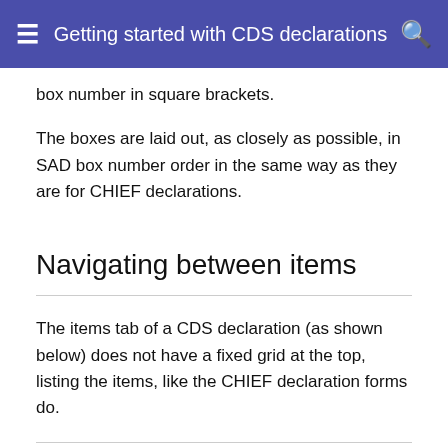Getting started with CDS declarations
box number in square brackets.
The boxes are laid out, as closely as possible, in SAD box number order in the same way as they are for CHIEF declarations.
Navigating between items
The items tab of a CDS declaration (as shown below) does not have a fixed grid at the top, listing the items, like the CHIEF declaration forms do.